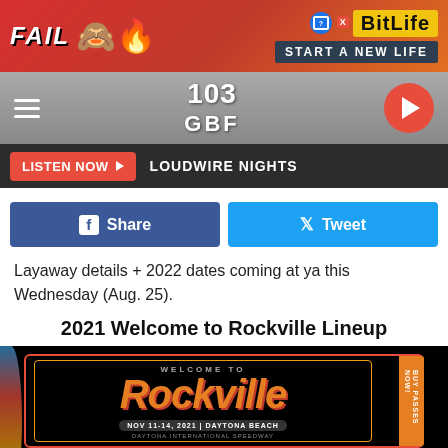[Figure (other): BitLife advertisement banner with FAIL text, emoji, BitLife logo, and START A NEW LIFE tagline on red/orange background]
[Figure (other): 103 GBF radio station navigation bar with hamburger menu, station logo, and play button]
LISTEN NOW ▶  LOUDWIRE NIGHTS
[Figure (other): Social share buttons: Facebook Share button and Twitter Tweet button]
Layaway details + 2022 dates coming at ya this Wednesday (Aug. 25).
2021 Welcome to Rockville Lineup
[Figure (other): Welcome to Rockville festival poster showing NOV 11-14, 2021 | DAYTONA BEACH, with Thursday lineup: SLIPKNOT · A DAY TO REMEMBER · CYPRESS HILL, STONE TEMPLE PILOTS · GOUDA · GRANDSON. BUY PASSES NOW ribbon on right side.]